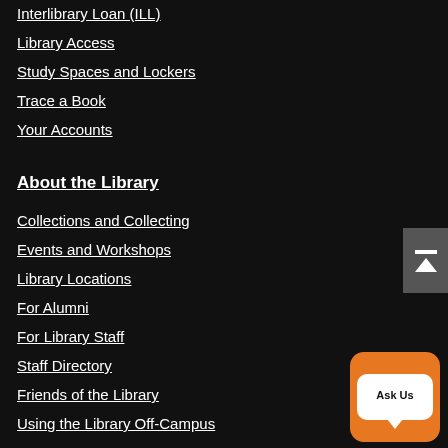Interlibrary Loan (ILL)
Library Access
Study Spaces and Lockers
Trace a Book
Your Accounts
About the Library
Collections and Collecting
Events and Workshops
Library Locations
For Alumni
For Library Staff
Staff Directory
Friends of the Library
Using the Library Off-Campus
Princeton University Library
One Washington Road